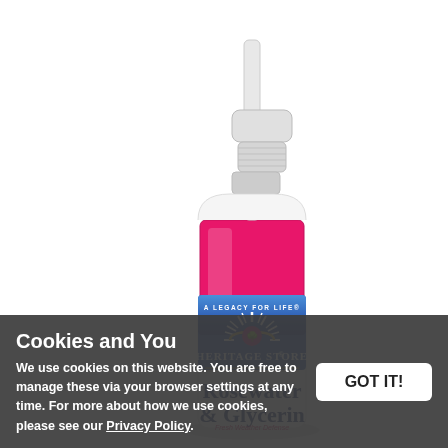[Figure (photo): Heritage Store Rosewater & Glycerin spray bottle with white pump top, pink liquid inside, blue label with sunburst logo reading 'A Legacy for Life' and 'Heritage Store', product name 'Rosewater & Glycerin' visible on white lower label, on white background with product reflection below.]
Cookies and You
We use cookies on this website. You are free to manage these via your browser settings at any time. For more about how we use cookies, please see our Privacy Policy.